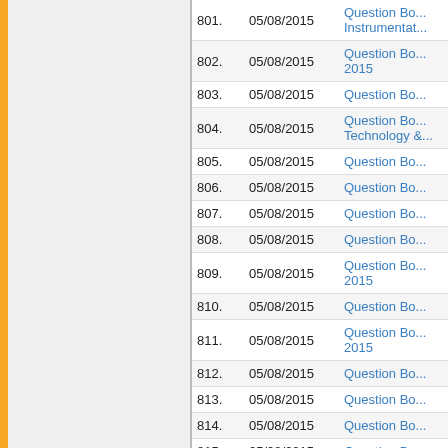| # | Date | Title |
| --- | --- | --- |
| 801. | 05/08/2015 | Question Bo... Instrumentat... |
| 802. | 05/08/2015 | Question Bo... 2015 |
| 803. | 05/08/2015 | Question Bo... |
| 804. | 05/08/2015 | Question Bo... Technology &... |
| 805. | 05/08/2015 | Question Bo... |
| 806. | 05/08/2015 | Question Bo... |
| 807. | 05/08/2015 | Question Bo... |
| 808. | 05/08/2015 | Question Bo... |
| 809. | 05/08/2015 | Question Bo... 2015 |
| 810. | 05/08/2015 | Question Bo... |
| 811. | 05/08/2015 | Question Bo... 2015 |
| 812. | 05/08/2015 | Question Bo... |
| 813. | 05/08/2015 | Question Bo... |
| 814. | 05/08/2015 | Question Bo... |
| 815. | 05/08/2015 | Question Bo... |